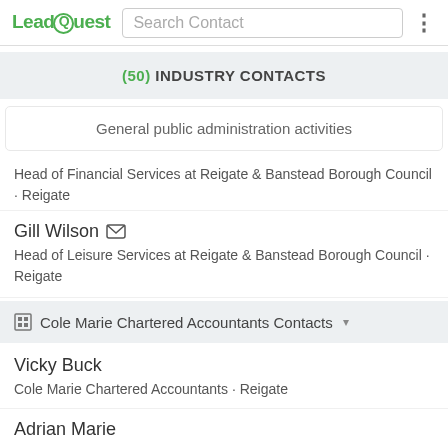LeadQuest | Search Contact
(50) INDUSTRY CONTACTS
General public administration activities
Head of Financial Services at Reigate & Banstead Borough Council · Reigate
Gill Wilson — Head of Leisure Services at Reigate & Banstead Borough Council · Reigate
Cole Marie Chartered Accountants Contacts
Vicky Buck
Cole Marie Chartered Accountants · Reigate
Adrian Marie